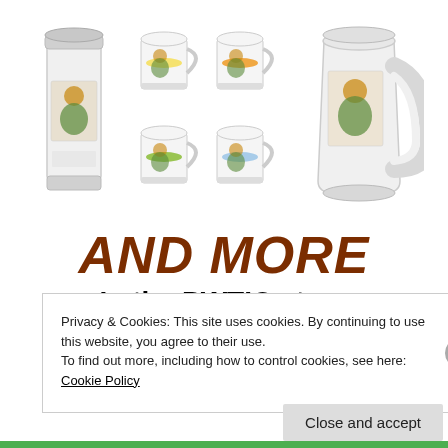[Figure (photo): Product photo showing a white travel tumbler, four colorful stackable mugs (yellow, orange, green, blue interiors), and a large white beer stein, all featuring a cartoon character design]
AND MORE
In the PWTIC store
Privacy & Cookies: This site uses cookies. By continuing to use this website, you agree to their use.
To find out more, including how to control cookies, see here: Cookie Policy